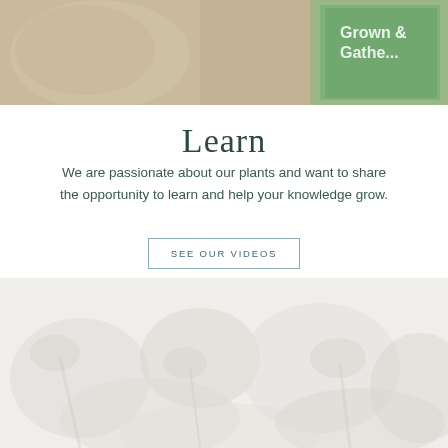[Figure (photo): Top photo showing wooden bowl and gardening book titled 'Grown & Gathe...' on a table]
Learn
We are passionate about our plants and want to share the opportunity to learn and help your knowledge grow.
SEE OUR VIDEOS
[Figure (photo): Bottom faded/washed-out photo of garden or plant-related imagery]